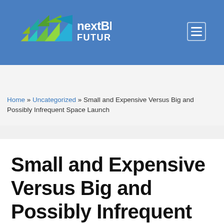nextBIG FUTURE
Home » Uncategorized » Small and Expensive Versus Big and Possibly Infrequent Space Launch
Small and Expensive Versus Big and Possibly Infrequent Space Launch